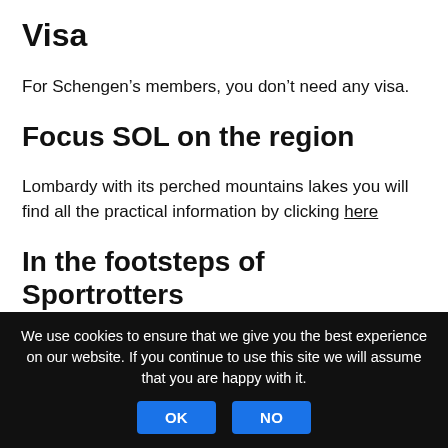Visa
For Schengen’s members, you don’t need any visa.
Focus SOL on the region
Lombardy with its perched mountains lakes you will find all the practical information by clicking here
In the footsteps of Sportrotters
Unauthorized
We use cookies to ensure that we give you the best experience on our website. If you continue to use this site we will assume that you are happy with it.